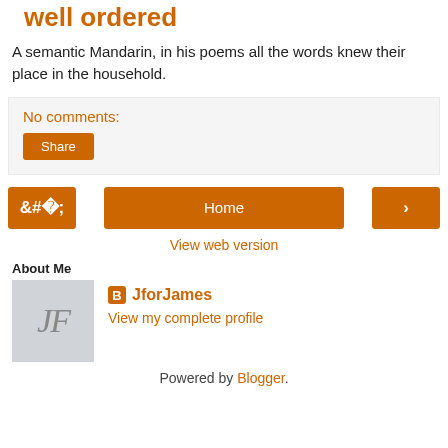well ordered
A semantic Mandarin, in his poems all the words knew their place in the household.
No comments:
Share
‹
Home
›
View web version
About Me
JforJames
View my complete profile
Powered by Blogger.